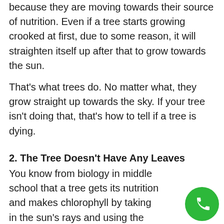because they are moving towards their source of nutrition. Even if a tree starts growing crooked at first, due to some reason, it will straighten itself up after that to grow towards the sun.
That's what trees do. No matter what, they grow straight up towards the sky. If your tree isn't doing that, that's how to tell if a tree is dying.
2. The Tree Doesn't Have Any Leaves
You know from biology in middle school that a tree gets its nutrition and makes chlorophyll by taking in the sun's rays and using the process of photosynthesis. But if your tree doesn't have any leaves, then how will it get its nutrition?